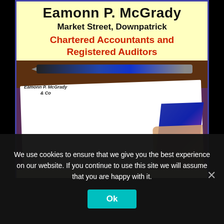Eamonn P. McGrady
Market Street, Downpatrick
Chartered Accountants and Registered Auditors
[Figure (photo): Photo of Eamonn P. McGrady & Co chartered accountants brochure on a desk with a blue pen, showing the firm brochure with purple/navy diagonal design and a hand signing a document]
We use cookies to ensure that we give you the best experience on our website. If you continue to use this site we will assume that you are happy with it.